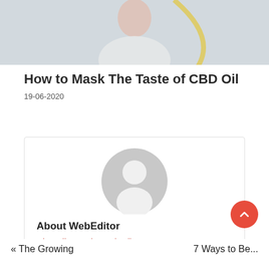[Figure (photo): A woman in a white top, appearing to drink or smell something, photographed from the shoulders up. Light background.]
How to Mask The Taste of CBD Oil
19-06-2020
About WebEditor
View all posts by WebEditor →
« The Growing
7 Ways to Be...